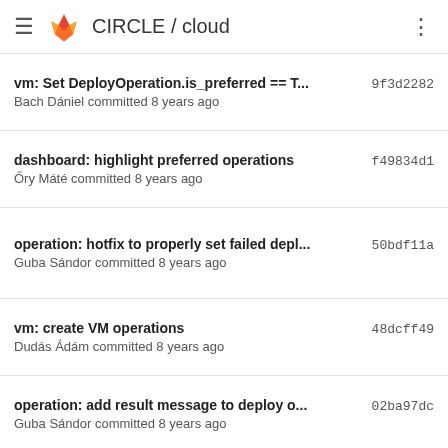CIRCLE / cloud
vm: Set DeployOperation.is_preferred == T... 9f3d2282
Bach Dániel committed 8 years ago
dashboard: highlight preferred operations f49834d1
Őry Máté committed 8 years ago
operation: hotfix to properly set failed depl... 50bdf11a
Guba Sándor committed 8 years ago
vm: create VM operations 48dcff49
Dudás Ádám committed 8 years ago
operation: add result message to deploy o... 02ba97dc
Guba Sándor committed 8 years ago
vm: fix operation texts 9460f70f
Guba Sándor committed 8 years ago
operation: add result message to deploy o... 02ba97dc
Guba Sándor committed 8 years ago